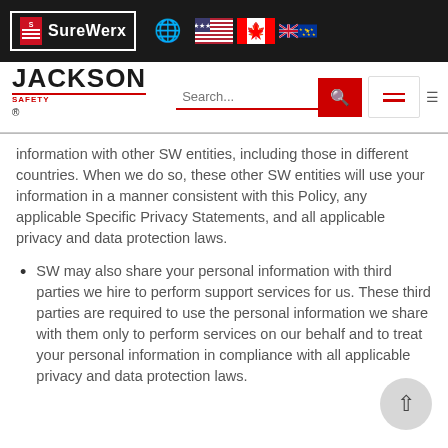[Figure (screenshot): SureWerx website navigation bar with logo, globe icon, and US, Canada, UK, EU flags]
[Figure (screenshot): Jackson Safety brand header with logo, search bar, and hamburger menu]
information with other SW entities, including those in different countries. When we do so, these other SW entities will use your information in a manner consistent with this Policy, any applicable Specific Privacy Statements, and all applicable privacy and data protection laws.
SW may also share your personal information with third parties we hire to perform support services for us. These third parties are required to use the personal information we share with them only to perform services on our behalf and to treat your personal information in compliance with all applicable privacy and data protection laws.